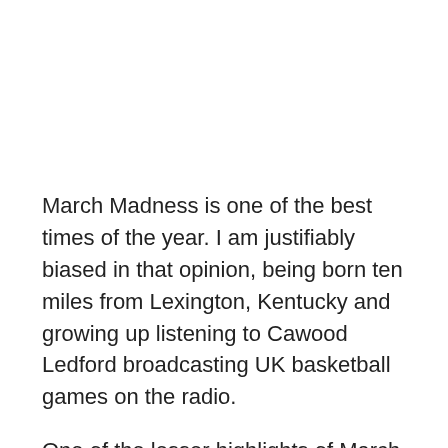March Madness is one of the best times of the year. I am justifiably biased in that opinion, being born ten miles from Lexington, Kentucky and growing up listening to Cawood Ledford broadcasting UK basketball games on the radio.
One of the lesser highlights of March Madness is discovering some new mascots of some of the lesser known universities that get invited to the NCAA tournament. Such as “The Great Danes of University of Albany”, or “The Chanticleers of Coastal Carolina.”
Although not in the tournament, I have a UC- Santa Cruz